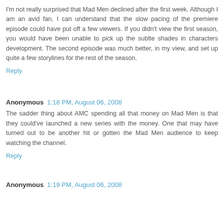I'm not really surprised that Mad Men declined after the first week. Although I am an avid fan, I can understand that the slow pacing of the premiere episode could have put off a few viewers. If you didn't view the first season, you would have been unable to pick up the subtle shades in characters development. The second episode was much better, in my view, and set up quite a few storylines for the rest of the season.
Reply
Anonymous  1:18 PM, August 06, 2008
The sadder thing about AMC spending all that money on Mad Men is that they could've launched a new series with the money. One that may have turned out to be another hit or gotten the Mad Men audience to keep watching the channel.
Reply
Anonymous  1:19 PM, August 06, 2008